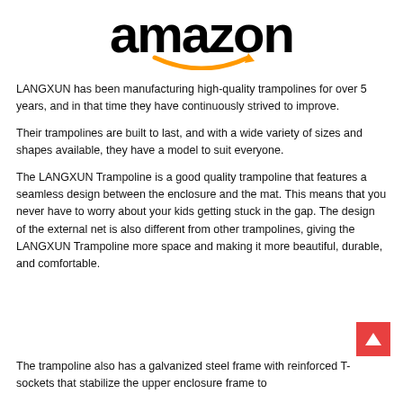[Figure (logo): Amazon logo with orange arrow smile underneath black 'amazon' text]
LANGXUN has been manufacturing high-quality trampolines for over 5 years, and in that time they have continuously strived to improve.
Their trampolines are built to last, and with a wide variety of sizes and shapes available, they have a model to suit everyone.
The LANGXUN Trampoline is a good quality trampoline that features a seamless design between the enclosure and the mat. This means that you never have to worry about your kids getting stuck in the gap. The design of the external net is also different from other trampolines, giving the LANGXUN Trampoline more space and making it more beautiful, durable, and comfortable.
The trampoline also has a galvanized steel frame with reinforced T-sockets that stabilize the upper enclosure frame to...